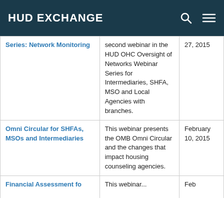HUD EXCHANGE
|  | Description | Date |
| --- | --- | --- |
| Series: Network Monitoring | second webinar in the HUD OHC Oversight of Networks Webinar Series for Intermediaries, SHFA, MSO and Local Agencies with branches. | 27, 2015 |
| Omni Circular for SHFAs, MSOs and Intermediaries | This webinar presents the OMB Omni Circular and the changes that impact housing counseling agencies. | February 10, 2015 |
| Financial Assessment for... | This webinar... | Feb... |